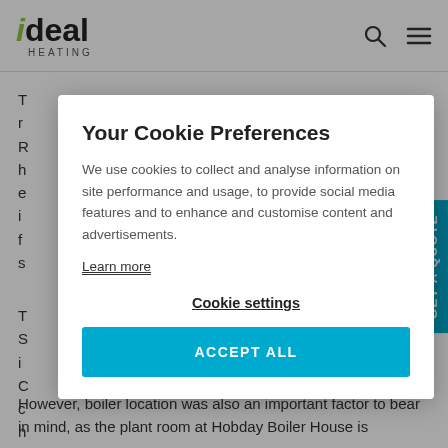ideal HEATING
However, boiler location was also an important factor to bear in mind, as the plant room at Hobday Boiler House is
[Figure (screenshot): Cookie consent modal overlay on Ideal Heating website. Modal contains title 'Your Cookie Preferences', body text about cookie usage, a 'Learn more' link, a 'Cookie settings' link, and an 'ACCEPT ALL' button. Background shows partial article text and a 'GET A QUOTE' side tab.]
Your Cookie Preferences
We use cookies to collect and analyse information on site performance and usage, to provide social media features and to enhance and customise content and advertisements.
Learn more
Cookie settings
ACCEPT ALL